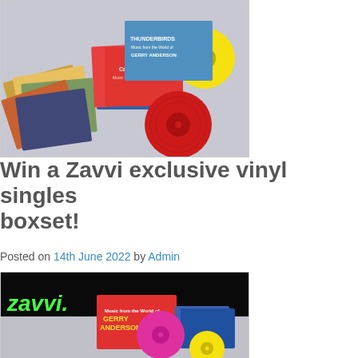[Figure (photo): A collection of colourful vinyl single records and artwork sleeves spread out on a white/grey surface, showing a Gerry Anderson themed boxset with red, yellow and other coloured vinyl discs and illustrated picture sleeves.]
Win a Zavvi exclusive vinyl singles boxset!
Posted on 14th June 2022 by Admin
[Figure (photo): A Zavvi branded vinyl singles boxset for Gerry Anderson, shown on a dark background with the Zavvi logo in green neon-style text. The boxset includes colourful vinyl singles with pink/magenta and yellow records visible, along with illustrated picture sleeves.]